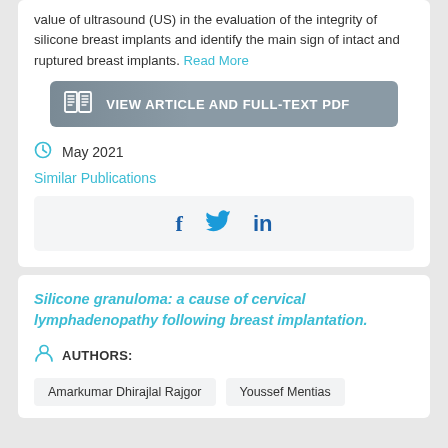value of ultrasound (US) in the evaluation of the integrity of silicone breast implants and identify the main sign of intact and ruptured breast implants. Read More
VIEW ARTICLE AND FULL-TEXT PDF
May 2021
Similar Publications
[Figure (other): Social media share icons: Facebook (f), Twitter (bird), LinkedIn (in)]
Silicone granuloma: a cause of cervical lymphadenopathy following breast implantation.
AUTHORS:
Amarkumar Dhirajlal Rajgor
Youssef Mentias